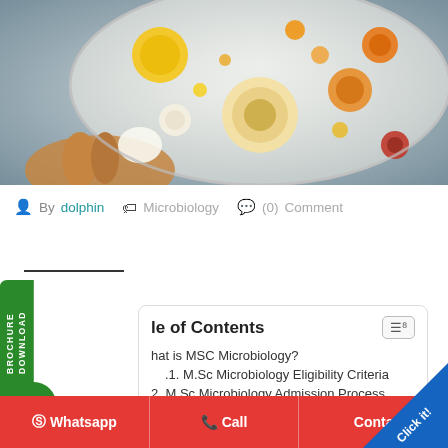[Figure (photo): Hand holding a petri dish with colorful bacterial/fungal colonies in yellow, orange, red and white on agar medium, against a blue-grey background]
By dolphin  🏷 Microbiology  💬 (0) Comment
Table of Contents
What is MSC Microbiology?
1.1. M.Sc Microbiology Eligibility Criteria
2. M.Sc Microbiology Admission Process
2.1. Top MSC Microbiology College In Tamil Nadu
2.1.1. Dolphin(PG) College
DOWNLOAD BROCHURE
WhatsApp   Call   Contact